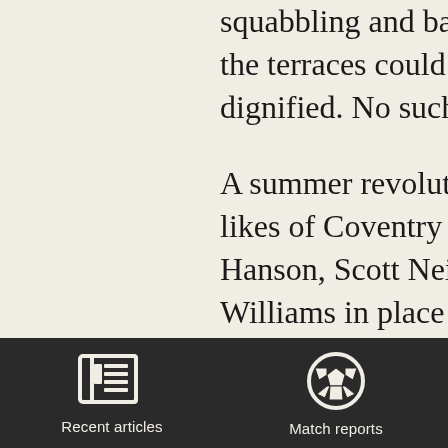squabbling and back-b the terraces could have dignified. No such luc
A summer revolution l likes of Coventry City Hanson, Scott Neilson Williams in place prese attractive proposition f gaffer (if we must, I'd that is another story) b wonders what the reac
[Figure (infographic): Dark navigation bar with two icon buttons: 'Recent articles' (newspaper icon) and 'Match reports' (soccer ball icon)]